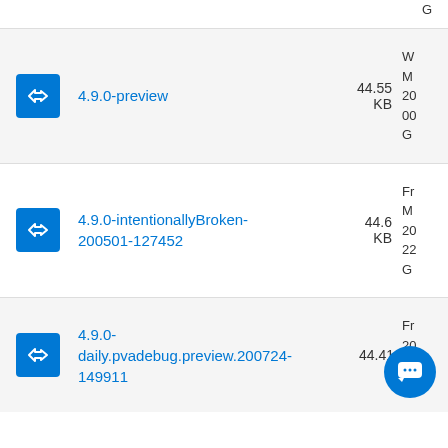GL (partial, top of page)
4.9.0-preview — 44.55 KB — W M 20 00 GL
4.9.0-intentionallyBroken-200501-127452 — 44.6 KB — Fr M 20 22 GL
4.9.0-daily.pvadebug.preview.200724-149911 — 44.41 KB — Fr 20 19 GL